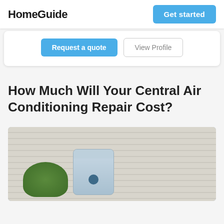HomeGuide
Get started
Request a quote
View Profile
How Much Will Your Central Air Conditioning Repair Cost?
[Figure (photo): Outdoor central air conditioning unit next to a house with white siding and green plants]